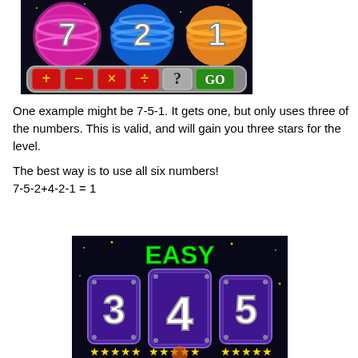[Figure (screenshot): Game screenshot showing planet balls with numbers 7, 2, 1 and math operator buttons (+, -, x, ÷, ?, GO) on a dark space background]
One example might be 7-5-1. It gets one, but only uses three of the numbers. This is valid, and will gain you three stars for the level.
The best way is to use all six numbers!
7-5-2+4-2-1 = 1
[Figure (screenshot): Game screenshot showing 'EASY' in green text and three purple number cards showing 3, 4, 5 with gold stars on a dark space background]